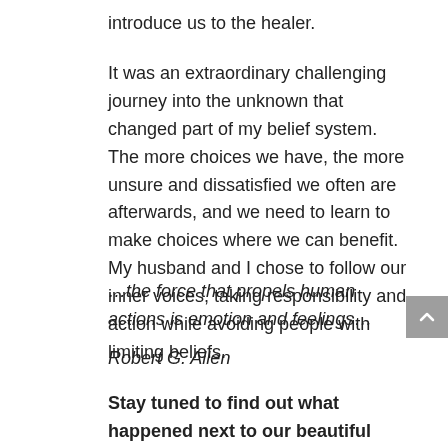introduce us to the healer.
It was an extraordinary challenging journey into the unknown that changed part of my belief system. The more choices we have, the more unsure and dissatisfied we often are afterwards, and we need to learn to make choices where we can benefit. My husband and I chose to follow our inner voices, taking responsibility and action while avoiding people with limiting beliefs.
…the force that propels human actions is emotion and feelings…
Robert G. Allen
Stay tuned to find out what happened next to our beautiful daughter…